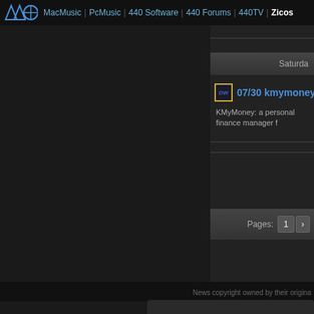MacMusic | PcMusic | 440 Software | 440 Forums | 440TV | Zicos
Saturday
07/30 kmymoney 5.1.3
KMyMoney: a personal finance manager f...
Pages: 1
News copyright owned by their origina...